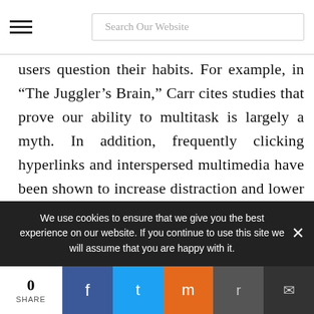Search Our Website
users question their habits. For example, in “The Juggler’s Brain,” Carr cites studies that prove our ability to multitask is largely a myth. In addition, frequently clicking hyperlinks and interspersed multimedia have been shown to increase distraction and lower comprehension, rather than forge connections between texts. In “The Church of Google,” Carr reveals that getting users to click hyperlinks is Google’s primary directive. The more a user navigates from page to page
We use cookies to ensure that we give you the best experience on our website. If you continue to use this site we will assume that you are happy with it.
0 SHARE